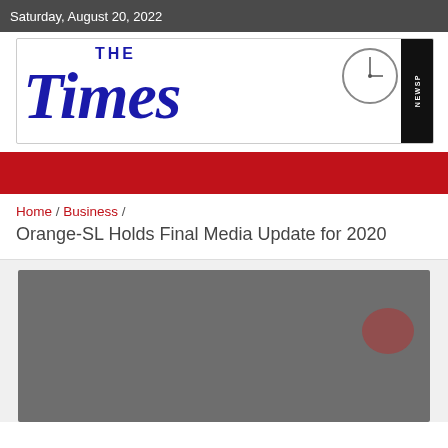Saturday, August 20, 2022
[Figure (logo): The Times newspaper logo with Gothic font, clock, and NEWSP vertical text]
Home / Business / Orange-SL Holds Final Media Update for 2020
Orange-SL Holds Final Media Update for 2020
[Figure (photo): Gray placeholder image area with a reddish circle element on the right side]